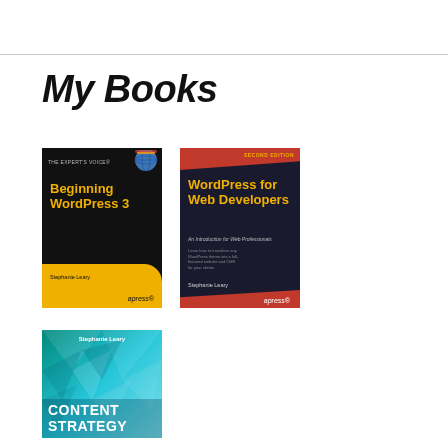My Books
[Figure (photo): Book cover: Beginning WordPress 3 by Stephanie Leary, Apress publisher, black and yellow cover]
[Figure (photo): Book cover: WordPress for Web Developers, Second Edition, by Stephanie Leary, Apress publisher, dark blue and red cover]
[Figure (photo): Book cover: Content Strategy by Stephanie Leary, teal geometric design cover]